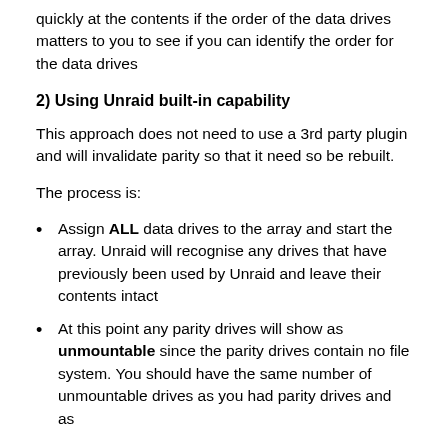quickly at the contents if the order of the data drives matters to you to see if you can identify the order for the data drives
2) Using Unraid built-in capability
This approach does not need to use a 3rd party plugin and will invalidate parity so that it need so be rebuilt.
The process is:
Assign ALL data drives to the array and start the array. Unraid will recognise any drives that have previously been used by Unraid and leave their contents intact
At this point any parity drives will show as unmountable since the parity drives contain no file system. You should have the same number of unmountable drives as you had parity drives and as